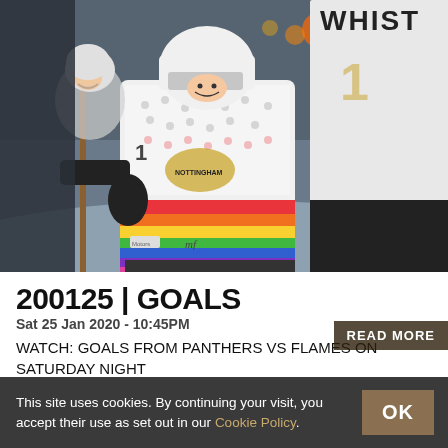[Figure (photo): Ice hockey players in colorful rainbow-striped jerseys (Nottingham Panthers) on ice, smiling, with another player in white jersey with WHISTLE text in foreground right]
200125 | GOALS
Sat 25 Jan 2020 - 10:45PM
WATCH: GOALS FROM PANTHERS VS FLAMES ON SATURDAY NIGHT
READ MORE
This site uses cookies. By continuing your visit, you accept their use as set out in our Cookie Policy.
OK